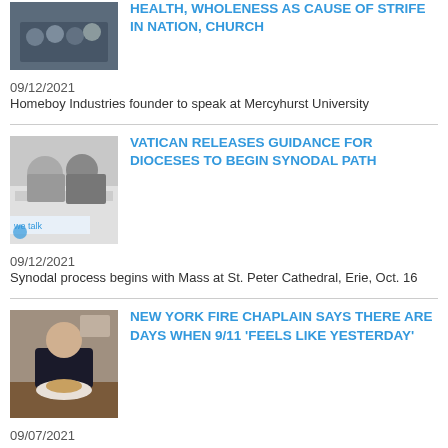[Figure (photo): Group photo of people, partially visible at top]
HEALTH, WHOLENESS AS CAUSE OF STRIFE IN NATION, CHURCH
09/12/2021
Homeboy Industries founder to speak at Mercyhurst University
[Figure (photo): Two people at a conference table with 'we talk' banner]
VATICAN RELEASES GUIDANCE FOR DIOCESES TO BEGIN SYNODAL PATH
09/12/2021
Synodal process begins with Mass at St. Peter Cathedral, Erie, Oct. 16
[Figure (photo): Person sitting at a desk with a burger]
NEW YORK FIRE CHAPLAIN SAYS THERE ARE DAYS WHEN 9/11 'FEELS LIKE YESTERDAY'
09/07/2021